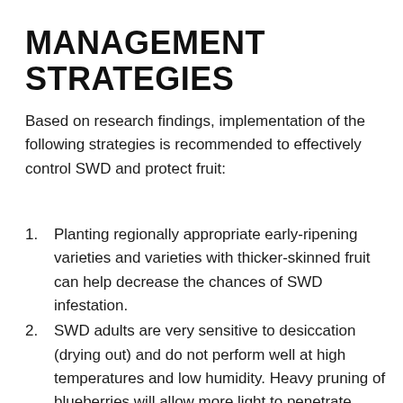MANAGEMENT STRATEGIES
Based on research findings, implementation of the following strategies is recommended to effectively control SWD and protect fruit:
Planting regionally appropriate early-ripening varieties and varieties with thicker-skinned fruit can help decrease the chances of SWD infestation.
SWD adults are very sensitive to desiccation (drying out) and do not perform well at high temperatures and low humidity. Heavy pruning of blueberries will allow more light to penetrate through the canopy, which may lower humidity and increase